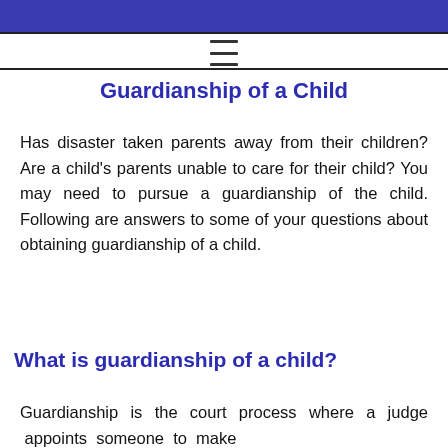Guardianship of a Child
Has disaster taken parents away from their children? Are a child's parents unable to care for their child? You may need to pursue a guardianship of the child. Following are answers to some of your questions about obtaining guardianship of a child.
What is guardianship of a child?
Guardianship is the court process where a judge appoints someone to make